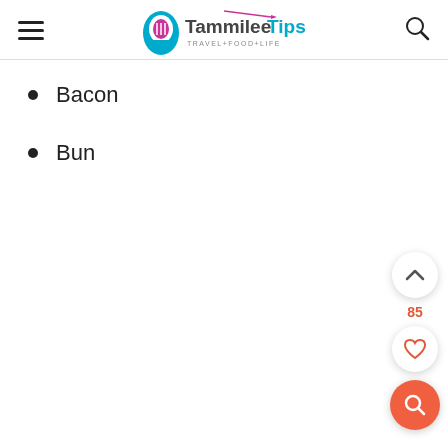Tammilee Tips — TRAVEL+FOOD+LIFE
Bacon
Bun